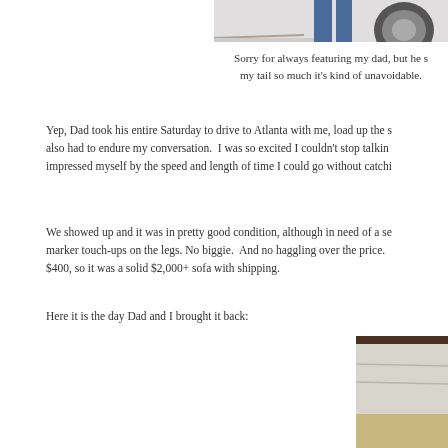[Figure (photo): Top partial photo showing a vehicle wheel/tire and person's legs, cropped at top of page]
Sorry for always featuring my dad, but he s... my tail so much it's kind of unavoidable.
Yep, Dad took his entire Saturday to drive to Atlanta with me, load up the s... also had to endure my conversation. I was so excited I couldn't stop talkin... impressed myself by the speed and length of time I could go without catchi...
We showed up and it was in pretty good condition, although in need of a se... marker touch-ups on the legs. No biggie. And no haggling over the price. $400, so it was a solid $2,000+ sofa with shipping.
Here it is the day Dad and I brought it back:
[Figure (photo): Photo showing a white/cream colored sofa cushion/back, partially visible, bottom portion of page]